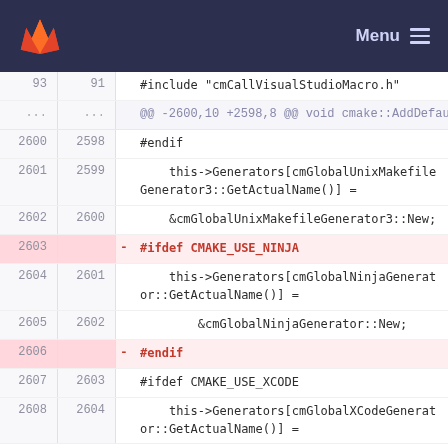GitLab Menu
[Figure (screenshot): Code diff view showing lines 93-2608 of a C++ file, with deletions of #ifdef CMAKE_USE_NINJA and #endif blocks around line 2603 and 2606]
93  91  #include "cmCallVisualStudioMacro.h"
...  ...  @@ -2600,10 +2598,8 @@ void cmake::AddDefaultGenerators()
2600  2598  #endif
2601  2599      this->Generators[cmGlobalUnixMakefileGenerator3::GetActualName()] =
2602  2600      &cmGlobalUnixMakefileGenerator3::New;
2603       - #ifdef CMAKE_USE_NINJA
2604  2601      this->Generators[cmGlobalNinjaGenerator::GetActualName()] =
2605  2602          &cmGlobalNinjaGenerator::New;
2606       - #endif
2607  2603  #ifdef CMAKE_USE_XCODE
2608  2604      this->Generators[cmGlobalXCodeGenerator::GetActualName()] =